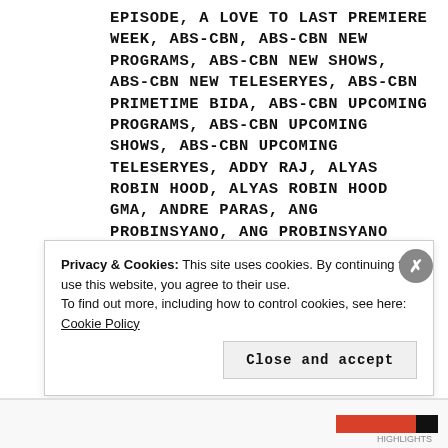EPISODE, A LOVE TO LAST PREMIERE WEEK, ABS-CBN, ABS-CBN NEW PROGRAMS, ABS-CBN NEW SHOWS, ABS-CBN NEW TELESERYES, ABS-CBN PRIMETIME BIDA, ABS-CBN UPCOMING PROGRAMS, ABS-CBN UPCOMING SHOWS, ABS-CBN UPCOMING TELESERYES, ADDY RAJ, ALYAS ROBIN HOOD, ALYAS ROBIN HOOD GMA, ANDRE PARAS, ANG PROBINSYANO, ANG PROBINSYANO ABS-CBN, BARBIE FORTEZA, BEA ALONZO, ENCHONG DEE, FPJ'S ANG PROBINSYANO, FPJ'S ANG PROBINSYANO ABS-CBN, GMA, GMA NETWORK, GMA NEW PROGRAMS, GMA NEW SHOWS, GMA NEW
Privacy & Cookies: This site uses cookies. By continuing to use this website, you agree to their use. To find out more, including how to control cookies, see here: Cookie Policy
Close and accept